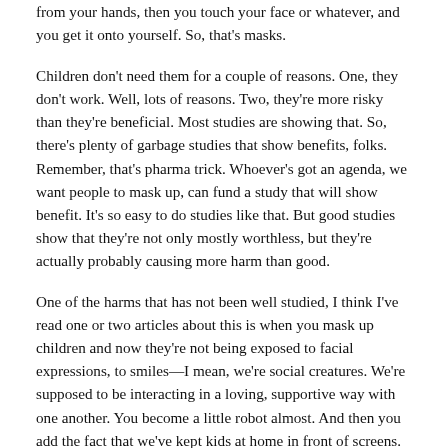from your hands, then you touch your face or whatever, and you get it onto yourself. So, that's masks.
Children don't need them for a couple of reasons. One, they don't work. Well, lots of reasons. Two, they're more risky than they're beneficial. Most studies are showing that. So, there's plenty of garbage studies that show benefits, folks. Remember, that's pharma trick. Whoever's got an agenda, we want people to mask up, can fund a study that will show benefit. It's so easy to do studies like that. But good studies show that they're not only mostly worthless, but they're actually probably causing more harm than good.
One of the harms that has not been well studied, I think I've read one or two articles about this is when you mask up children and now they're not being exposed to facial expressions, to smiles—I mean, we're social creatures. We're supposed to be interacting in a loving, supportive way with one another. You become a little robot almost. And then you add the fact that we've kept kids at home in front of screens.
Before COVID hit, my number one problem in teenagers was anxiety and depression, it was triggered by screens. I mean, that was crystal clear to me. Now we add COVID, isolation, and so much more screen time, and we wonder why we're having increases in ADD, anxiety, suicides. It's a disaster. Now, when we know that children—unless they happen to have severe underlying medical conditions—most children, their risk of dying from COVID is less than 1 in 100,000. I mean, they just don't get seriously ill. Of course, the news is going to report those rare cases and get everybody afraid. So fear is what